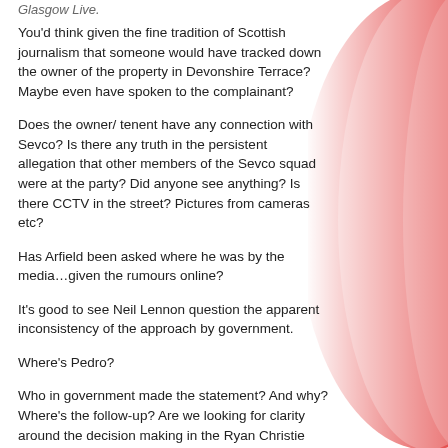Glasgow Live.
You'd think given the fine tradition of Scottish journalism that someone would have tracked down the owner of the property in Devonshire Terrace?
Maybe even have spoken to the complainant?
Does the owner/ tenent have any connection with Sevco? Is there any truth in the persistent allegation that other members of the Sevco squad were at the party? Did anyone see anything? Is there CCTV in the street? Pictures from cameras etc?
Has Arfield been asked where he was by the media…given the rumours online?
It's good to see Neil Lennon question the apparent inconsistency of the approach by government.
Where's Pedro?
Who in government made the statement? And why? Where's the follow-up? Are we looking for clarity around the decision making in the Ryan Christie affair?
Maybe Pedro was at the party in Devonshire Terrace too?